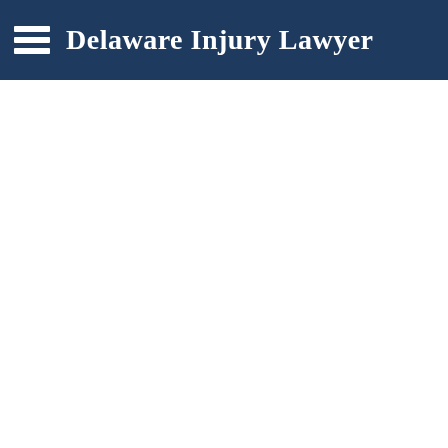Delaware Injury Lawyer
[Figure (other): Black banner image below the header navigation bar]